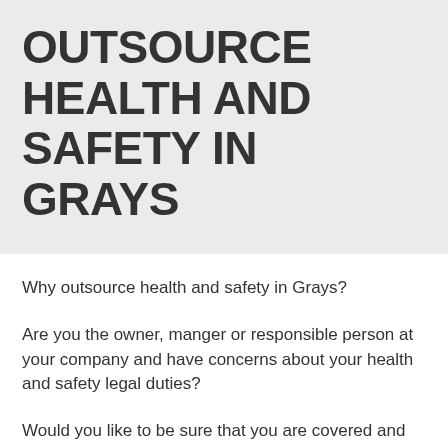OUTSOURCE HEALTH AND SAFETY IN GRAYS
Why outsource health and safety in Grays?
Are you the owner, manger or responsible person at your company and have concerns about your health and safety legal duties?
Would you like to be sure that you are covered and have everything in place as required by health and safety law?